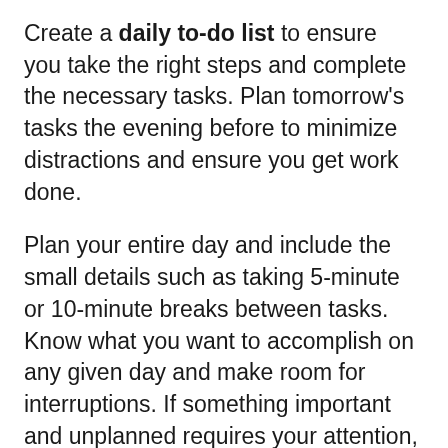Create a daily to-do list to ensure you take the right steps and complete the necessary tasks. Plan tomorrow's tasks the evening before to minimize distractions and ensure you get work done.
Plan your entire day and include the small details such as taking 5-minute or 10-minute breaks between tasks. Know what you want to accomplish on any given day and make room for interruptions. If something important and unplanned requires your attention, find a way to attend to it while still getting crucial tasks done.